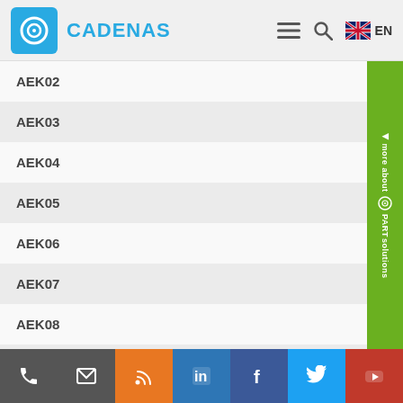CADENAS
AEK02
AEK03
AEK04
AEK05
AEK06
AEK07
AEK08
AEK09
AEK10
AEK11
AEK12
phone | email | rss | linkedin | facebook | twitter | youtube